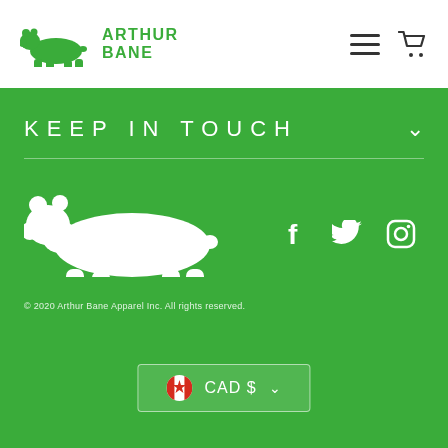[Figure (logo): Arthur Bane polar bear logo with green bear silhouette and green text ARTHUR BANE]
[Figure (illustration): Hamburger menu icon and shopping cart icon in dark grey]
KEEP IN TOUCH
[Figure (illustration): White polar bear silhouette logo on green background]
[Figure (illustration): Social media icons: Facebook, Twitter, Instagram in white on green background]
© 2020 Arthur Bane Apparel Inc. All rights reserved.
CAD $